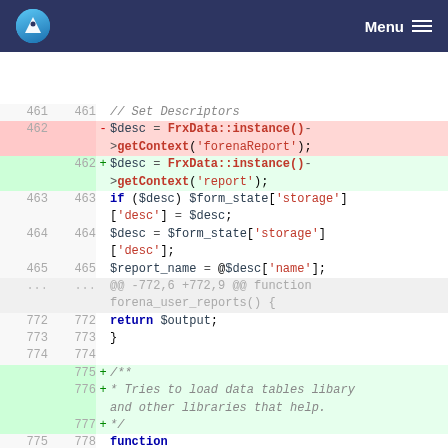Menu
[Figure (screenshot): Code diff view showing PHP code changes. Lines 461-465, 772-778 with additions and deletions. Header shows Drupal flame logo and Menu navigation.]
461 461     // Set Descriptors
462      -  $desc = FrxData::instance()->getContext('forenaReport');
    462  +  $desc = FrxData::instance()->getContext('report');
463 463     if ($desc) $form_state['storage']['desc'] = $desc;
464 464     $desc = $form_state['storage']['desc'];
465 465     $report_name = @$desc['name'];
... ...  @@ -772,6 +772,9 @@ function forena_user_reports() {
772 772     return $output;
773 773   }
774 774
    775  +  /**
    776  +  * Tries to load data tables libary and other libraries that help.
    777  +  */
775 778   function